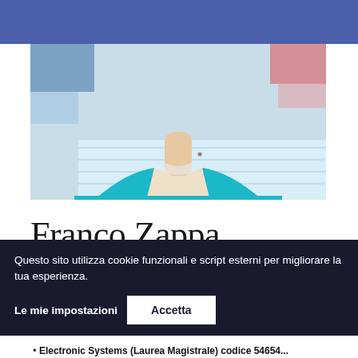[Figure (photo): Cropped photo of a person wearing a teal/cyan polo shirt, visible from chest up without face shown, background includes colored items]
Franco Zappa
Giugno 25, 2019Giugno 26, 2019
Electronic Systems (Laurea Magistrale) codice 54654
Questo sito utilizza cookie funzionali e script esterni per migliorare la tua esperienza.
Le mie impostazioni    Accetta